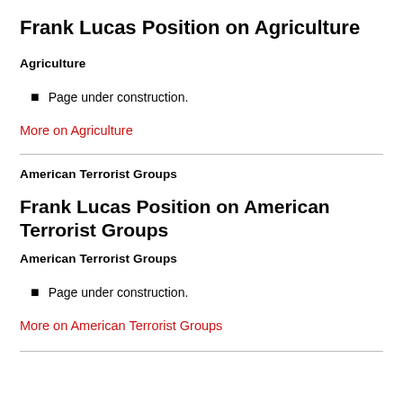Frank Lucas Position on Agriculture
Agriculture
Page under construction.
More on Agriculture
American Terrorist Groups
Frank Lucas Position on American Terrorist Groups
American Terrorist Groups
Page under construction.
More on American Terrorist Groups